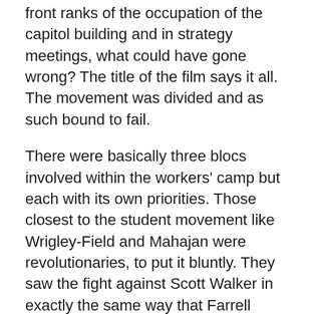front ranks of the occupation of the capitol building and in strategy meetings, what could have gone wrong? The title of the film says it all. The movement was divided and as such bound to fail.
There were basically three blocs involved within the workers' camp but each with its own priorities. Those closest to the student movement like Wrigley-Field and Mahajan were revolutionaries, to put it bluntly. They saw the fight against Scott Walker in exactly the same way that Farrell Dobbs saw the fight to organize truck drivers in 1934, as the first step in building a new (in this instance, renewed) labor movement that could fight effectively for the interests of workers in general and lead ultimately to a transformation of American society.
In the middle were union officials at the local level who had